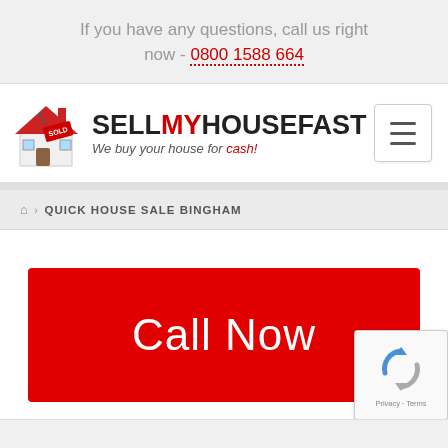If you have any questions, call us right now - 0800 1588 664
[Figure (logo): SellMyHouseFast logo with house illustration and tagline 'We buy your house for cash!']
QUICK HOUSE SALE BINGHAM
Call Now
[Figure (other): Google reCAPTCHA badge with Privacy · Terms]